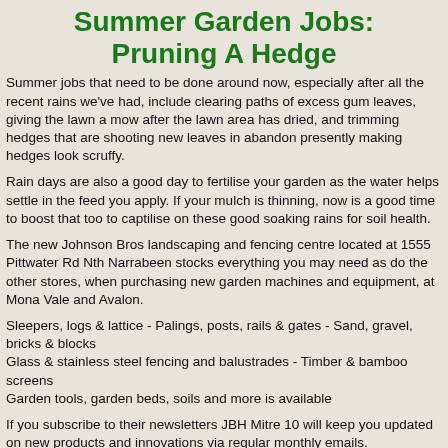Summer Garden Jobs: Pruning A Hedge
Summer jobs that need to be done around now, especially after all the recent rains we've had, include clearing paths of excess gum leaves, giving the lawn a mow after the lawn area has dried, and trimming hedges that are shooting new leaves in abandon presently making hedges look scruffy.
Rain days are also a good day to fertilise your garden as the water helps settle in the feed you apply. If your mulch is thinning, now is a good time to boost that too to captilise on these good soaking rains for soil health.
The new Johnson Bros landscaping and fencing centre located at 1555 Pittwater Rd Nth Narrabeen stocks everything you may need as do the other stores, when purchasing new garden machines and equipment, at Mona Vale and Avalon.
Sleepers, logs & lattice - Palings, posts, rails & gates - Sand, gravel, bricks & blocks
Glass & stainless steel fencing and balustrades - Timber & bamboo screens
Garden tools, garden beds, soils and more is available
If you subscribe to their newsletters JBH Mitre 10 will keep you updated on new products and innovations via regular monthly emails.
These will include: